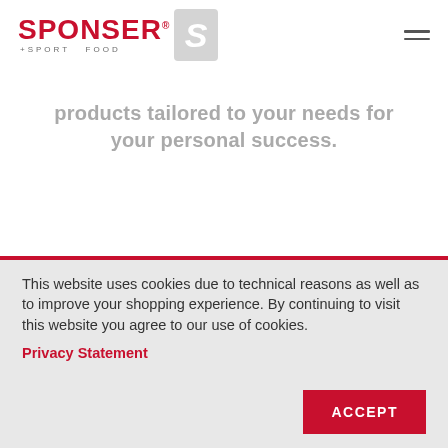[Figure (logo): SPONSER Sport Food logo with red text and grey S icon]
products tailored to your needs for your personal success.
This website uses cookies due to technical reasons as well as to improve your shopping experience. By continuing to visit this website you agree to our use of cookies.
Privacy Statement
ACCEPT